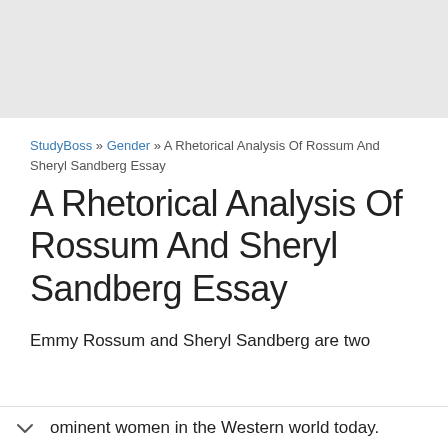StudyBoss » Gender » A Rhetorical Analysis Of Rossum And Sheryl Sandberg Essay
A Rhetorical Analysis Of Rossum And Sheryl Sandberg Essay
Emmy Rossum and Sheryl Sandberg are two prominent women in the Western world today.